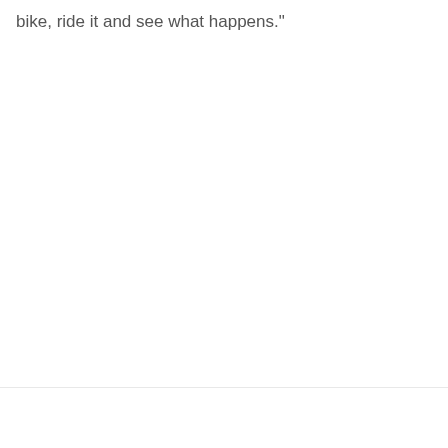bike, ride it and see what happens."